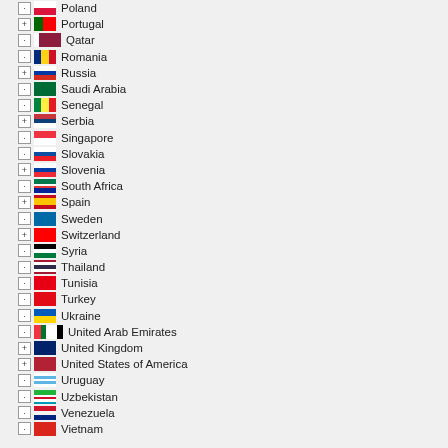Poland
Portugal
Qatar
Romania
Russia
Saudi Arabia
Senegal
Serbia
Singapore
Slovakia
Slovenia
South Africa
Spain
Sweden
Switzerland
Syria
Thailand
Tunisia
Turkey
Ukraine
United Arab Emirates
United Kingdom
United States of America
Uruguay
Uzbekistan
Venezuela
Vietnam